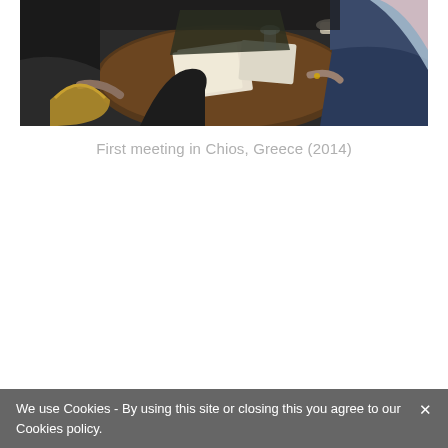[Figure (photo): People sitting around a round wooden table having a meeting, with notebooks, papers, and a glass visible on the table. Dark interior setting.]
First meeting in Chios, Greece (2014)
We use Cookies - By using this site or closing this you agree to our Cookies policy. ×